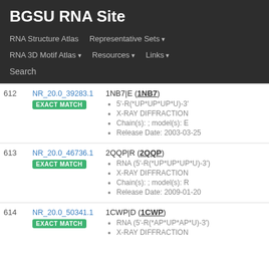BGSU RNA Site
RNA Structure Atlas | Representative Sets ▾ | RNA 3D Motif Atlas ▾ | Resources ▾ | Links ▾ | Search
| # | ID | Structure Info |
| --- | --- | --- |
| 612 | NR_20.0_39283.1
EXACT MATCH | 1NB7|E (1NB7)
• 5'-R(*UP*UP*UP*U)-3'
• X-RAY DIFFRACTION
• Chain(s): ; model(s): E
• Release Date: 2003-03-25 |
| 613 | NR_20.0_46736.1
EXACT MATCH | 2QQP|R (2QQP)
• RNA (5'-R(*UP*UP*UP*U)-3')
• X-RAY DIFFRACTION
• Chain(s): ; model(s): R
• Release Date: 2009-01-20 |
| 614 | NR_20.0_50341.1
EXACT MATCH | 1CWP|D (1CWP)
• RNA (5'-R(*AP*UP*AP*U)-3')
• X-RAY DIFFRACTION |